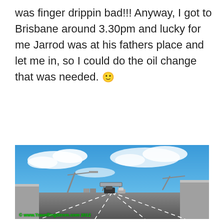was finger drippin bad!!! Anyway, I got to Brisbane around 3.30pm and lucky for me Jarrod was at his fathers place and let me in, so I could do the oil change that was needed. 🙂
[Figure (photo): A photo taken from inside a car on a highway in Brisbane, showing multiple lanes of traffic ahead, concrete noise barriers on both sides, highway light poles and overhead gantry signs, and a blue sky with white clouds. A green copyright watermark reads '© www.TravellingStrom.com 2012' in the bottom-left corner.]